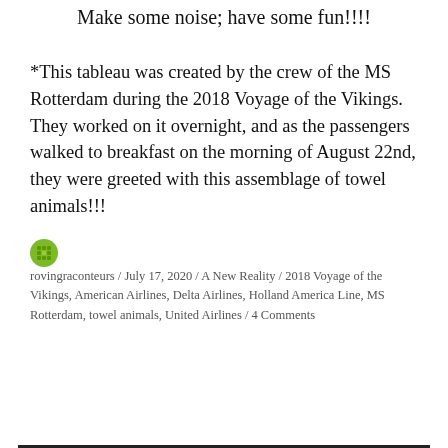Make some noise; have some fun!!!!
*This tableau was created by the crew of the MS Rotterdam during the 2018 Voyage of the Vikings.  They worked on it overnight, and as the passengers walked to breakfast on the morning of August 22nd, they were greeted with this assemblage of towel animals!!!
rovingraconteurs / July 17, 2020 / A New Reality / 2018 Voyage of the Vikings, American Airlines, Delta Airlines, Holland America Line, MS Rotterdam, towel animals, United Airlines / 4 Comments